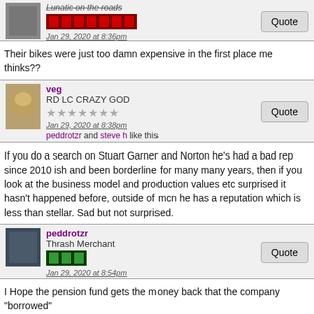Lunatic on the roads
Jan 29, 2020 at 8:36pm
Their bikes were just too damn expensive in the first place me thinks??
veg
RD LC CRAZY GOD
Jan 29, 2020 at 8:38pm
peddrotzr and steve h like this
If you do a search on Stuart Garner and Norton he's had a bad rep since 2010 ish and been borderline for many many years, then if you look at the business model and production values etc surprised it hasn't happened before, outside of mcn he has a reputation which is less than stellar. Sad but not surprised.
peddrotzr
Thrash Merchant
Jan 29, 2020 at 8:54pm
I Hope the pension fund gets the money back that the company "borrowed"